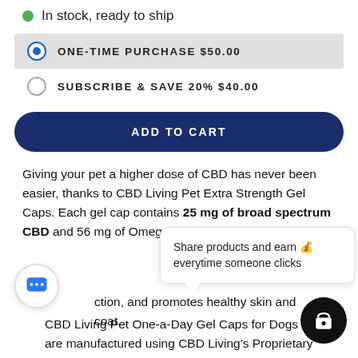In stock, ready to ship
ONE-TIME PURCHASE $50.00
SUBSCRIBE & SAVE 20% $40.00
ADD TO CART
Giving your pet a higher dose of CBD has never been easier, thanks to CBD Living Pet Extra Strength Gel Caps. Each gel cap contains 25 mg of broad spectrum CBD and 56 mg of Omega-3 Fatty Acids
Share products and earn 💰 everytime someone clicks
Omega-3 Fatty Acids support immune function, and promotes healthy skin and coat.
CBD Living Pet One-a-Day Gel Caps for Dogs are manufactured using CBD Living's Proprietary Nano-Emulsifying Delivery System, ensuring immediate and